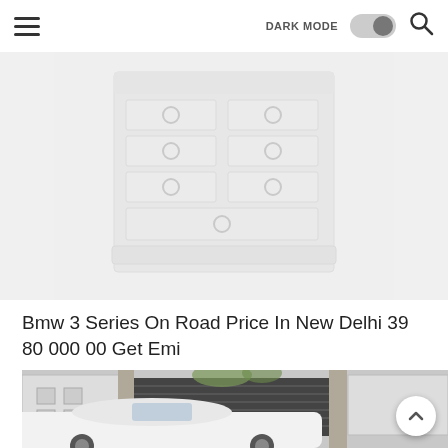DARK MODE [toggle] [search]
[Figure (photo): A white chest of drawers / dresser with multiple drawers and circular ring handles, photographed at a slight angle against a light background. The image is blurred/faded.]
Bmw 3 Series On Road Price In New Delhi 39 80 000 00 Get Emi
[Figure (photo): A white BMW 3 Series car parked in front of a residential property with a dark horizontal-slatted gate and a white building. Green plants visible in upper portion. A circular scroll-to-top button with an upward chevron is overlaid in the lower right.]